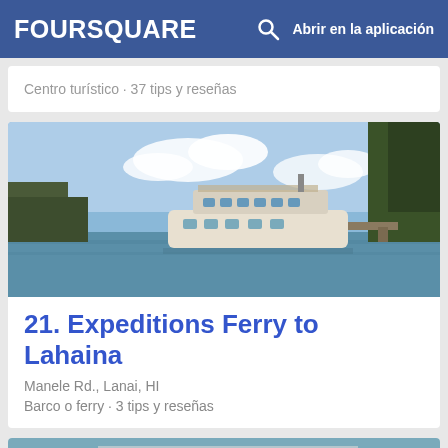FOURSQUARE  Abrir en la aplicación
Centro turístico · 37 tips y reseñas
[Figure (photo): Ferry boat docked at a calm harbor with trees and blue sky with clouds in the background]
21. Expeditions Ferry to Lahaina
Manele Rd., Lanai, HI
Barco o ferry · 3 tips y reseñas
[Figure (photo): Partial view of a boat with 'TRILOGY II' text visible]